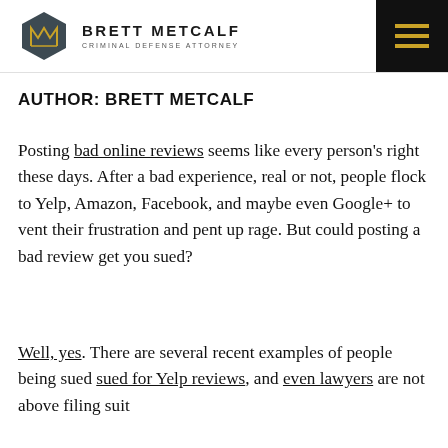BRETT METCALF CRIMINAL DEFENSE ATTORNEY
AUTHOR: BRETT METCALF
Posting bad online reviews seems like every person's right these days. After a bad experience, real or not, people flock to Yelp, Amazon, Facebook, and maybe even Google+ to vent their frustration and pent up rage. But could posting a bad review get you sued?
Well, yes. There are several recent examples of people being sued sued for Yelp reviews, and even lawyers are not above filing suit